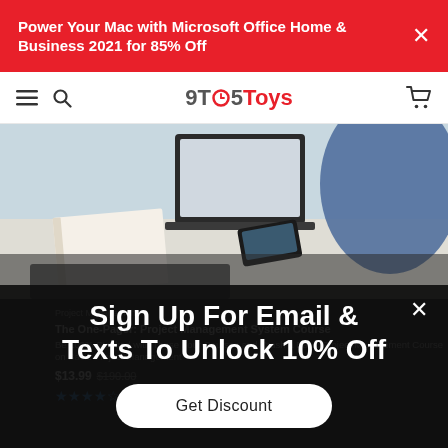Power Your Mac with Microsoft Office Home & Business 2021 for 85% Off
9TO5Toys
[Figure (photo): Desk scene with laptop, notebook, and phone; person in denim jacket in background]
Project Management
The One-Pager: Project Management System Course
Be 100% Stacked with These Four Courses and Crash a Basic Project Management Course on Basic Project Management
$13.99  $190.00
★★★★☆
Sign Up For Email & Texts To Unlock 10% Off
Get Discount